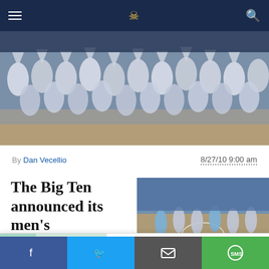Navigation bar with hamburger menu, site logo, and search icon
[Figure (photo): Crowd of Penn State fans in white t-shirts with arms raised at a basketball game]
By Dan Vecellio    8/27/10 9:00 am
The Big Ten announced its men's
[Figure (photo): Basketball game court scene with players and spectators]
[Figure (photo): Advertisement image: dental patient smiling with dentist in green gloves]
Need Dental Implants But Have No Money? See Options
Dental implants | Search ads | Sponsored
Facebook | Twitter | Email | SMS share buttons